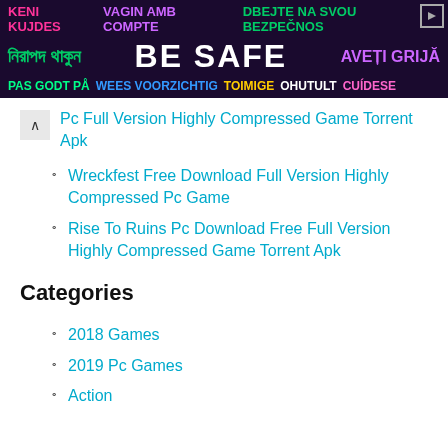[Figure (infographic): Be Safe multilingual ad banner with colorful text on dark purple/navy background]
Pc Full Version Highly Compressed Game Torrent Apk
Wreckfest Free Download Full Version Highly Compressed Pc Game
Rise To Ruins Pc Download Free Full Version Highly Compressed Game Torrent Apk
Categories
2018 Games
2019 Pc Games
Action